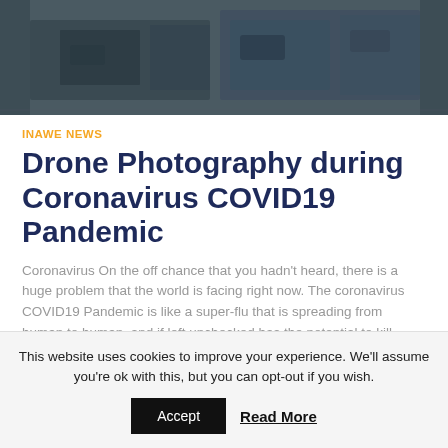[Figure (photo): Aerial drone photo showing dark overhead view of vehicles or equipment, cropped at top of page]
INAWE NEWS
Drone Photography during Coronavirus COVID19 Pandemic
Coronavirus On the off chance that you hadn't heard, there is a huge problem that the world is facing right now. The coronavirus COVID19 Pandemic is like a super-flu that is spreading from human to human, and if left unchecked has the potential to kill millions of people around the Read more…
This website uses cookies to improve your experience. We'll assume you're ok with this, but you can opt-out if you wish.
Accept  Read More